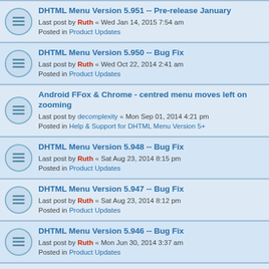DHTML Menu Version 5.951 -- Pre-release January
Last post by Ruth « Wed Jan 14, 2015 7:54 am
Posted in Product Updates
DHTML Menu Version 5.950 -- Bug Fix
Last post by Ruth « Wed Oct 22, 2014 2:41 am
Posted in Product Updates
Android FFox & Chrome - centred menu moves left on zooming
Last post by decomplexity « Mon Sep 01, 2014 4:21 pm
Posted in Help & Support for DHTML Menu Version 5+
DHTML Menu Version 5.948 -- Bug Fix
Last post by Ruth « Sat Aug 23, 2014 8:15 pm
Posted in Product Updates
DHTML Menu Version 5.947 -- Bug Fix
Last post by Ruth « Sat Aug 23, 2014 8:12 pm
Posted in Product Updates
DHTML Menu Version 5.946 -- Bug Fix
Last post by Ruth « Mon Jun 30, 2014 3:37 am
Posted in Product Updates
Adding shortcut keys to menu items
Last post by Amar Gogoi « Wed May 14, 2014 7:13 am
Posted in Help & Support for DHTML Menu Version 5+
Adding shortcut keys to melonic menu items
Last post by Amar Gogoi « Tue May 13, 2014 12:15 pm
Posted in Help & Support for DHTML Menu Version 5+
DHTML Menu Version 5.945 -- Bug Fix